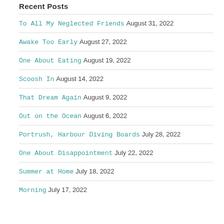Recent Posts
To All My Neglected Friends August 31, 2022
Awake Too Early August 27, 2022
One About Eating August 19, 2022
Scoosh In August 14, 2022
That Dream Again August 9, 2022
Out on the Ocean August 6, 2022
Portrush, Harbour Diving Boards July 28, 2022
One About Disappointment July 22, 2022
Summer at Home July 18, 2022
Morning July 17, 2022